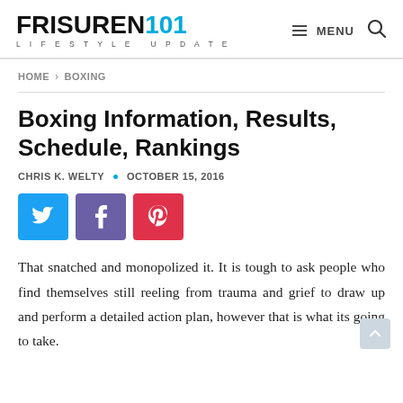FRISUREN101 LIFESTYLE UPDATE / MENU (search icon)
HOME > BOXING
Boxing Information, Results, Schedule, Rankings
CHRIS K. WELTY • OCTOBER 15, 2016
[Figure (infographic): Three social media share buttons: Twitter (blue), Facebook (purple), Pinterest (red)]
That snatched and monopolized it. It is tough to ask people who find themselves still reeling from trauma and grief to draw up and perform a detailed action plan, however that is what its going to take.